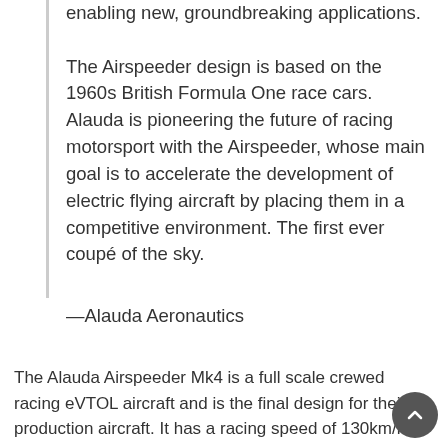enabling new, groundbreaking applications.
The Airspeeder design is based on the 1960s British Formula One race cars. Alauda is pioneering the future of racing motorsport with the Airspeeder, whose main goal is to accelerate the development of electric flying aircraft by placing them in a competitive environment. The first ever coupé of the sky.
—Alauda Aeronautics
The Alauda Airspeeder Mk4 is a full scale crewed racing eVTOL aircraft and is the final design for their production aircraft. It has a racing speed of 130km/h (81 mph), a maximum speed of 250 km/h (155 mph), a flight time of 10 minutes and a maximum takeoff weight of 250 kg (551 lbs). The Airspeeder Mk4 is highly stylized, modern, streamlined